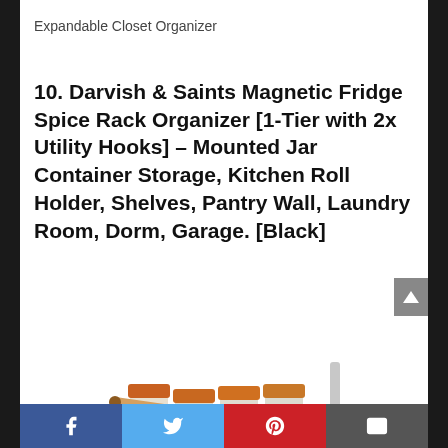Expandable Closet Organizer
10. Darvish & Saints Magnetic Fridge Spice Rack Organizer [1-Tier with 2x Utility Hooks] – Mounted Jar Container Storage, Kitchen Roll Holder, Shelves, Pantry Wall, Laundry Room, Dorm, Garage. [Black]
[Figure (photo): Photo of a magnetic spice rack organizer holding jars of spices with a rolling pin and pastry brush hanging from hooks, mounted configuration shown.]
Facebook Twitter Pinterest Email social share buttons